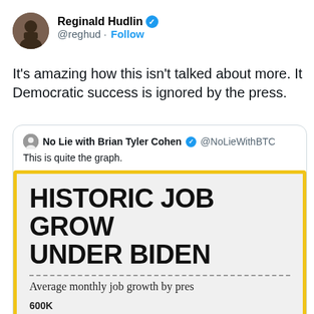[Figure (screenshot): Twitter/X profile avatar of Reginald Hudlin, a man with arms crossed]
Reginald Hudlin ✓ @reghud · Follow
It's amazing how this isn't talked about more. It's like Democratic success is ignored by the press.
No Lie with Brian Tyler Cohen ✓ @NoLieWithBTC
This is quite the graph.
[Figure (infographic): Infographic with yellow border titled 'HISTORIC JOB GROWTH UNDER BIDEN', showing a bar chart of average monthly job growth by president, with y-axis labels 600K and 500K visible]